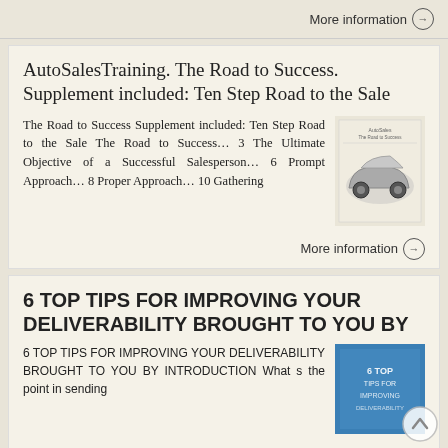More information →
AutoSalesTraining. The Road to Success. Supplement included: Ten Step Road to the Sale
The Road to Success Supplement included: Ten Step Road to the Sale The Road to Success… 3 The Ultimate Objective of a Successful Salesperson… 6 Prompt Approach… 8 Proper Approach… 10 Gathering
[Figure (photo): Thumbnail image of AutoSalesTraining book cover showing a car]
More information →
6 TOP TIPS FOR IMPROVING YOUR DELIVERABILITY BROUGHT TO YOU BY
6 TOP TIPS FOR IMPROVING YOUR DELIVERABILITY BROUGHT TO YOU BY INTRODUCTION What s the point in sending
[Figure (photo): Thumbnail image of blue book cover]